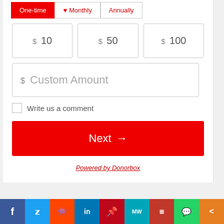One-time | Monthly | Annually
$ 10
$ 50
$ 100
$ Custom Amount
Write us a comment
Next →
Powered by Donorbox
f  Twitter  Reddit  in  Pinterest  MW  MI  WhatsApp  Share